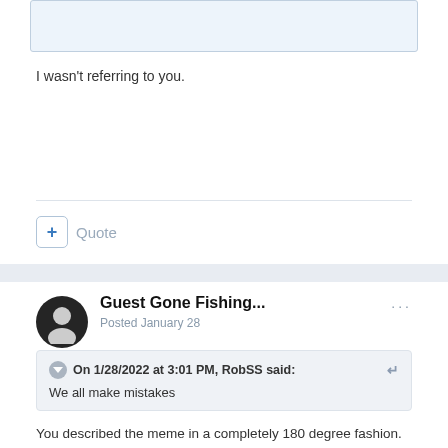[Figure (screenshot): Top portion of a forum post quote box, showing a light blue bordered quoted text area (content truncated at top)]
I wasn't referring to you.
+ Quote
Guest Gone Fishing...
Posted January 28
On 1/28/2022 at 3:01 PM, RobSS said:
We all make mistakes
You described the meme in a completely 180 degree fashion. 180 degrees. Complete opposite.